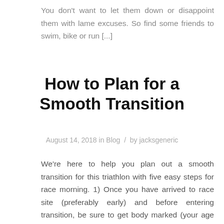You don't want to let them down or disappoint them with lame excuses. So find some friends to swim, bike or run [...]
How to Plan for a Smooth Transition
August 14, 2018 in Blog / by jacksgeneric
We're here to help you plan out a smooth transition for this triathlon with five easy steps for race morning. 1) Once you have arrived to race site (preferably early) and before entering transition, be sure to get body marked (your age and race number written on your arms and legs by volunteers). You should [...]